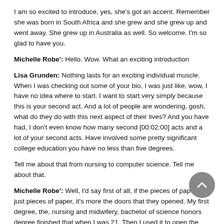I am so excited to introduce, yes, she's got an accent. Remember she was born in South Africa and she grew and she grew up and went away. She grew up in Australia as well. So welcome. I'm so glad to have you.
Michelle Robe': Hello. Wow. What an exciting introduction
Lisa Grunden: Nothing lasts for an exciting individual muscle. When I was checking out some of your bio, I was just like, wow, I have no idea where to start. I want to start very simply because this is your second act. And a lot of people are wondering, gosh, what do they do with this next aspect of their lives? And you have had, I don't even know how many second [00:02:00] acts and a lot of your second acts. Have involved some pretty significant college education you have no less than five degrees.
Tell me about that from nursing to computer science. Tell me about that.
Michelle Robe': Well, I'd say first of all, if the pieces of paper, I just pieces of paper, it's more the doors that they opened. My first degree, the, nursing and midwifery, bachelor of science honors degree finished that when I was 21. Then I used it to open the door to become a systems analyst